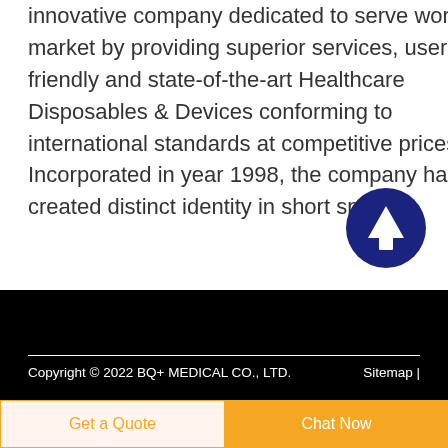innovative company dedicated to serve world market by providing superior services, user-friendly and state-of-the-art Healthcare Disposables & Devices conforming to international standards at competitive prices. Incorporated in year 1998, the company has created distinct identity in short span of
[Figure (illustration): Dark blue circular button with white upward arrow icon, used as a scroll-to-top button]
Copyright © 2022 BQ+ MEDICAL CO., LTD.    Sitemap |